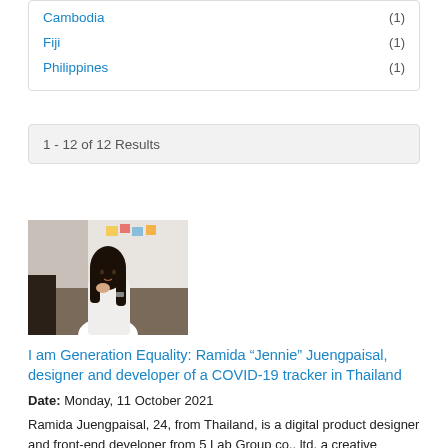Cambodia (1)
Fiji (1)
Philippines (1)
1 - 12 of 12 Results
[Figure (photo): Young woman sitting thoughtfully in an office or classroom setting, resting her chin on her hand, looking to the side.]
I am Generation Equality: Ramida “Jennie” Juengpaisal, designer and developer of a COVID-19 tracker in Thailand
Date: Monday, 11 October 2021
Ramida Juengpaisal, 24, from Thailand, is a digital product designer and front-end developer from 5 Lab Group co., ltd. a creative software company that created the COVID-19 Tracker in Thailand. She aims to bridge design and technology to make a better society.